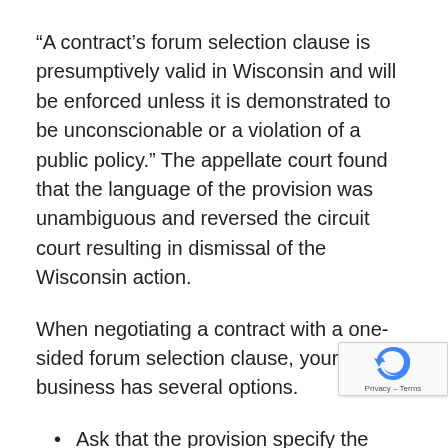“A contract’s forum selection clause is presumptively valid in Wisconsin and will be enforced unless it is demonstrated to be unconscionable or a violation of a public policy.” The appellate court found that the language of the provision was unambiguous and reversed the circuit court resulting in dismissal of the Wisconsin action.
When negotiating a contract with a one-sided forum selection clause, your business has several options.
Ask that the provision specify the courts of your state. The other party may agree to this for various reasons. For example, the courts...